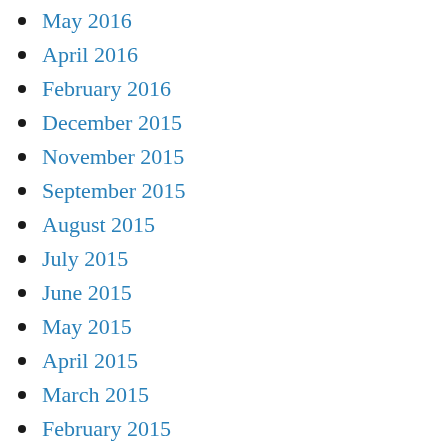May 2016
April 2016
February 2016
December 2015
November 2015
September 2015
August 2015
July 2015
June 2015
May 2015
April 2015
March 2015
February 2015
January 2015
December 2014
November 2014